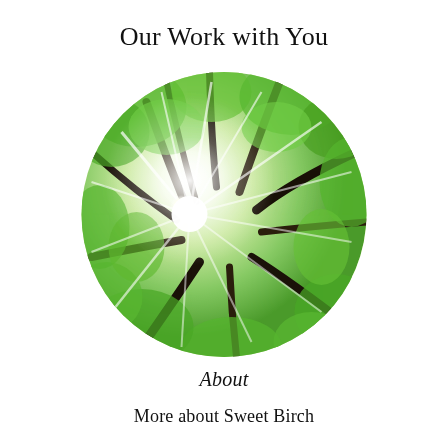Our Work with You
[Figure (photo): Circular cropped photo taken looking up through a forest of birch trees with bright sunlight shining through green leaves and dark tree trunks radiating outward]
About
More about Sweet Birch